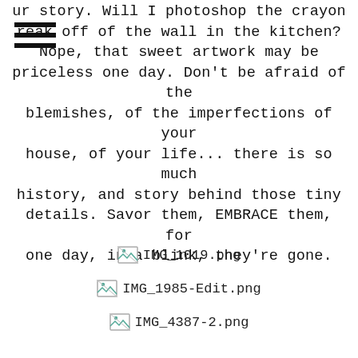ur story. Will I photoshop the crayon reak off of the wall in the kitchen? Nope, that sweet artwork may be priceless one day. Don't be afraid of the blemishes, of the imperfections of your house, of your life... there is so much history, and story behind those tiny details. Savor them, EMBRACE them, for one day, in a blink, they're gone.
[Figure (photo): Broken image placeholder labeled IMG_1019.png]
[Figure (photo): Broken image placeholder labeled IMG_1985-Edit.png]
[Figure (photo): Broken image placeholder labeled IMG_4387-2.png]